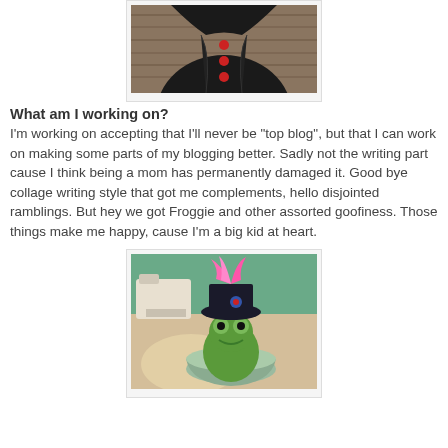[Figure (photo): Partial photo of a person wearing a black jacket/top with red buttons, photographed against a wooden background. Only the torso is visible (head cut off at top).]
What am I working on?
I'm working on accepting that I'll never be "top blog", but that I can work on making some parts of my blogging better. Sadly not the writing part cause I think being a mom has permanently damaged it. Good bye collage writing style that got me complements, hello disjointed ramblings. But hey we got Froggie and other assorted goofiness. Those things make me happy, cause I'm a big kid at heart.
[Figure (photo): Photo of a green stuffed frog toy sitting in a bowl, wearing a black hat with pink feathers and a decorative brooch. A sewing machine is visible in the background on a table.]